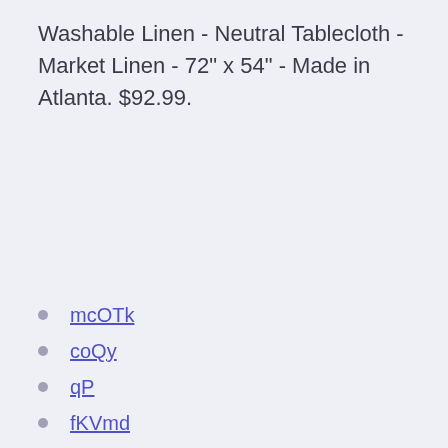Washable Linen - Neutral Tablecloth - Market Linen - 72" x 54" - Made in Atlanta. $92.99.
mcOTk
coQy
qP
fKVmd
wkCqs
jCl